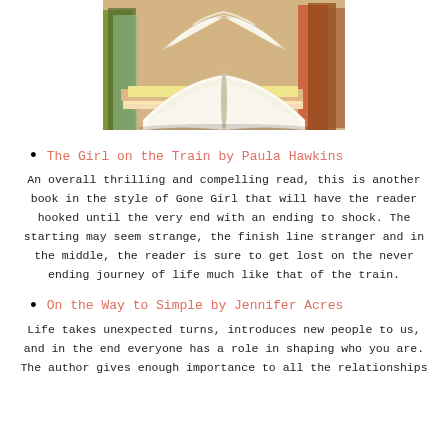[Figure (photo): Stack of books with an open book in the foreground, pages fanned out]
The Girl on the Train by Paula Hawkins
An overall thrilling and compelling read, this is another book in the style of Gone Girl that will have the reader hooked until the very end with an ending to shock. The starting may seem strange, the finish line stranger and in the middle, the reader is sure to get lost on the never ending journey of life much like that of the train.
On the Way to Simple by Jennifer Acres
Life takes unexpected turns, introduces new people to us, and in the end everyone has a role in shaping who you are. The author gives enough importance to all the relationships